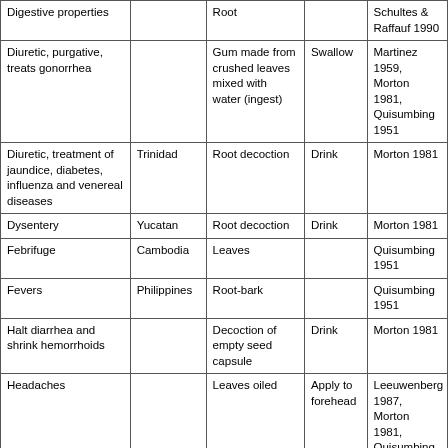| Digestive properties |  | Root |  | Schultes & Raffauf 1990 |
| Diuretic, purgative, treats gonorrhea |  | Gum made from crushed leaves mixed with water (ingest) | Swallow | Martinez 1959, Morton 1981, Quisumbing 1951 |
| Diuretic, treatment of jaundice, diabetes, influenza and venereal diseases | Trinidad | Root decoction | Drink | Morton 1981 |
| Dysentery | Yucatan | Root decoction | Drink | Morton 1981 |
| Febrifuge | Cambodia | Leaves |  | Quisumbing 1951 |
| Fevers | Philippines | Root-bark |  | Quisumbing 1951 |
| Halt diarrhea and shrink hemorrhoids |  | Decoction of empty seed capsule | Drink | Morton 1981 |
| Headaches |  | Leaves oiled | Apply to forehead | Leeuwenberg 1987, Morton 1981, Quisumbing 1951 |
| Inflammation, colic, or the heat |  | Leaves (3-7) boiled with | Drink | Ayensu 1981, Honychurch 1990 |